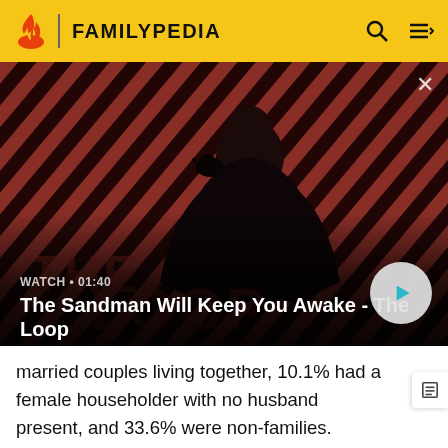FAMILYPEDIA
[Figure (screenshot): Video thumbnail showing a dark-cloaked figure with a raven on shoulder against a red and black diagonal striped background, titled 'The Sandman Will Keep You Awake - The Loop'. Duration shown as 01:40 with a play button.]
married couples living together, 10.1% had a female householder with no husband present, and 33.6% were non-families. 27.5% of all households were made up of individuals and 12.5% had someone living alone who was 65 years of age or older. The average household size was 2.41 and the average family size was 3.14.